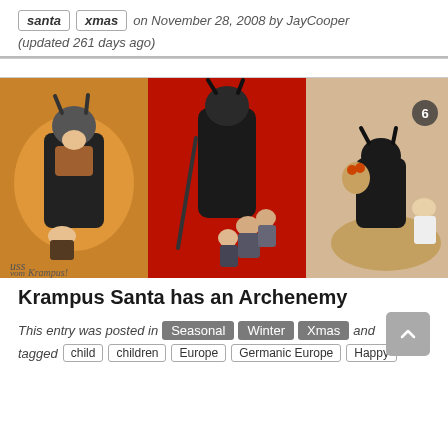santa  xmas  on November 28, 2008 by JayCooper (updated 261 days ago)
[Figure (photo): Three vintage Krampus postcards shown side by side. Left: Krampus carrying a child in a basket on an orange/dark background with text 'uss vom Krampus'. Middle: Krampus in dark fur with chains and children on red background. Right: Dark Krampus figure on horseback with children and basket, beige background, with a badge showing '6'.]
Krampus Santa has an Archenemy
This entry was posted in Seasonal Winter Xmas and tagged child children Europe Germanic Europe Happy